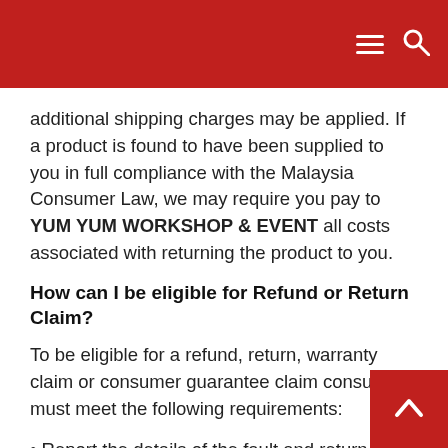additional shipping charges may be applied. If a product is found to have been supplied to you in full compliance with the Malaysia Consumer Law, we may require you pay to YUM YUM WORKSHOP & EVENT all costs associated with returning the product to you.
How can I be eligible for Refund or Return Claim?
To be eligible for a refund, return, warranty claim or consumer guarantee claim consumers must meet the following requirements:
• Report the details of the fault and return them by post or courier;
• State what remedy you would like : 1) refund in